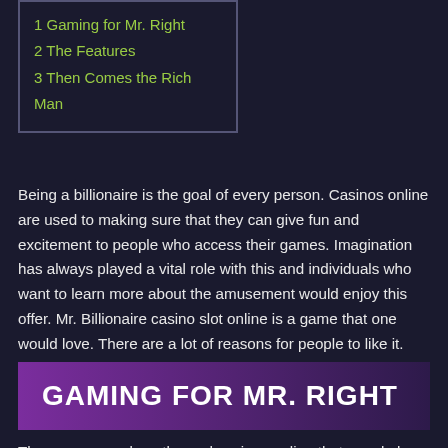1 Gaming for Mr. Right
2 The Features
3 Then Comes the Rich Man
Being a billionaire is the goal of every person. Casinos online are used to making sure that they can give fun and excitement to people who access their games. Imagination has always played a vital role with this and individuals who want to learn more about the amusement would enjoy this offer. Mr. Billionaire casino slot online is a game that one would love. There are a lot of reasons for people to like it. Read on this review to find out more about entertainment that could define a whole generation.
GAMING FOR MR. RIGHT
There are some love-themed casinos online that people love